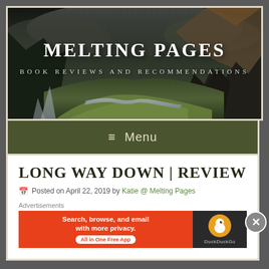[Figure (screenshot): Melting Pages website header banner showing a dramatic mountain valley landscape with a river, with site title MELTING PAGES and subtitle BOOK REVIEWS AND RECOMMENDATIONS overlaid in white serif text]
≡  Menu
LONG WAY DOWN | REVIEW
Posted on April 22, 2019 by Katie @ Melting Pages
Advertisements
[Figure (screenshot): DuckDuckGo advertisement banner with orange background on left reading 'Search, browse, and email with more privacy. All in One Free App' and DuckDuckGo logo on dark right panel]